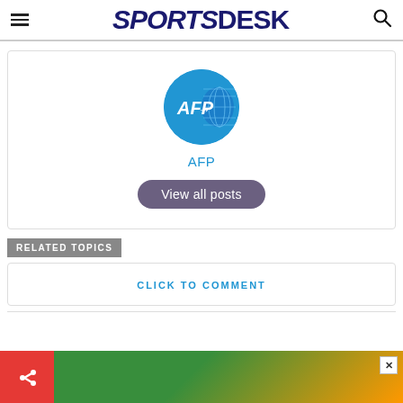SPORTSDESK
[Figure (logo): AFP logo — blue circle with AFP text and globe graphic, followed by 'AFP' label and 'View all posts' button]
RELATED TOPICS
CLICK TO COMMENT
[Figure (other): Bottom bar with share button (red) and partial advertisement (green/orange background with close X button)]